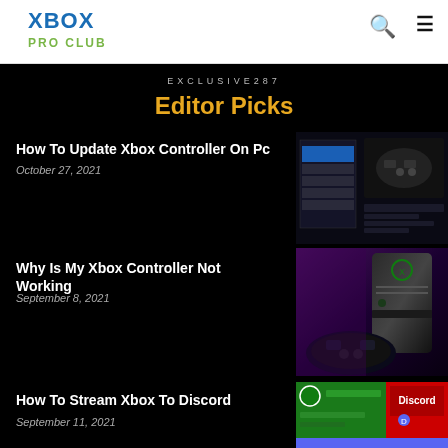XBOX
PRO CLUB
EXCLUSIVE287
Editor Picks
How To Update Xbox Controller On Pc
October 27, 2021
[Figure (screenshot): Screenshot of Xbox Controller update screen on PC with a dark UI and controller image]
Why Is My Xbox Controller Not Working
September 8, 2021
[Figure (photo): Photo of Xbox Series X console with purple/magenta background and Xbox controller in front]
How To Stream Xbox To Discord
September 11, 2021
[Figure (screenshot): Screenshot showing Xbox streaming to Discord with green Xbox UI and Discord interface]